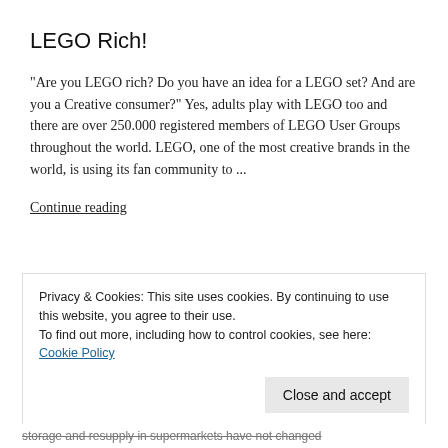LEGO Rich!
"Are you LEGO rich? Do you have an idea for a LEGO set? And are you a Creative consumer?" Yes, adults play with LEGO too and there are over 250.000 registered members of LEGO User Groups throughout the world. LEGO, one of the most creative brands in the world, is using its fan community to ...
Continue reading
Privacy & Cookies: This site uses cookies. By continuing to use this website, you agree to their use.
To find out more, including how to control cookies, see here: Cookie Policy
Close and accept
storage and resupply in supermarkets have not changed